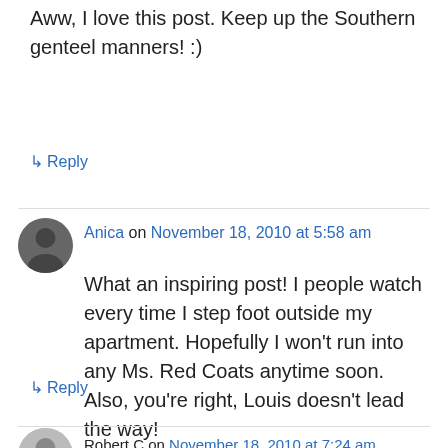Aww, I love this post. Keep up the Southern genteel manners! :)
↳ Reply
Anica on November 18, 2010 at 5:58 am
What an inspiring post! I people watch every time I step foot outside my apartment. Hopefully I won't run into any Ms. Red Coats anytime soon. Also, you're right, Louis doesn't lead the way!
↳ Reply
Robert C on November 18, 2010 at 7:24 am
Another excellent post! :) Life is all about trying